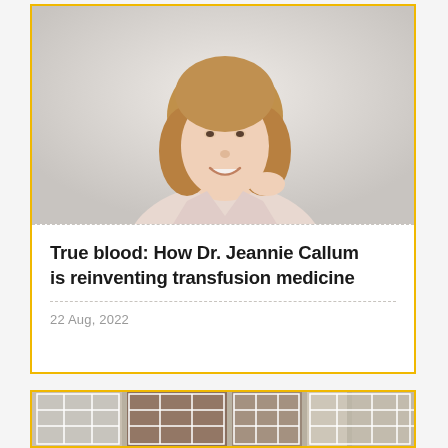[Figure (photo): Portrait photo of Dr. Jeannie Callum, a woman with shoulder-length blonde/brown hair wearing a light pink blazer, smiling against a light gray background]
True blood: How Dr. Jeannie Callum is reinventing transfusion medicine
22 Aug, 2022
[Figure (photo): Partial image of windows with brick/stone wall, showing grid window panes with various textured materials visible through them]